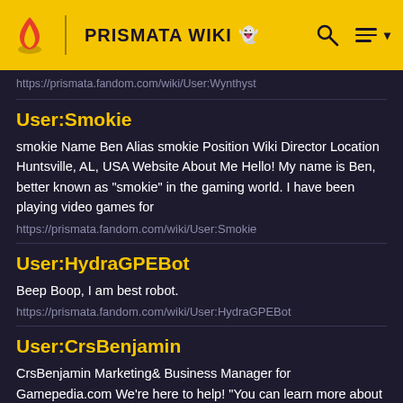PRISMATA WIKI
https://prismata.fandom.com/wiki/User:Wynthyst
User:Smokie
smokie Name Ben Alias smokie Position Wiki Director Location Huntsville, AL, USA Website About Me Hello! My name is Ben, better known as "smokie" in the gaming world. I have been playing video games for
https://prismata.fandom.com/wiki/User:Smokie
User:HydraGPEBot
Beep Boop, I am best robot.
https://prismata.fandom.com/wiki/User:HydraGPEBot
User:CrsBenjamin
CrsBenjamin Marketing& Business Manager for Gamepedia.com We're here to help! "You can learn more about a person in an hour